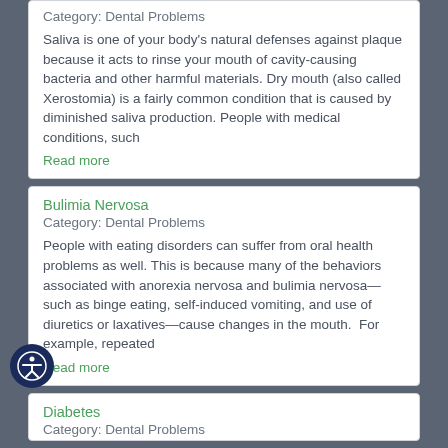Category: Dental Problems
Saliva is one of your body's natural defenses against plaque because it acts to rinse your mouth of cavity-causing bacteria and other harmful materials. Dry mouth (also called Xerostomia) is a fairly common condition that is caused by diminished saliva production. People with medical conditions, such
Read more
Bulimia Nervosa
Category: Dental Problems
People with eating disorders can suffer from oral health problems as well. This is because many of the behaviors associated with anorexia nervosa and bulimia nervosa—such as binge eating, self-induced vomiting, and use of diuretics or laxatives—cause changes in the mouth.  For example, repeated
Read more
Diabetes
Category: Dental Problems
ple living with diabetes are vulnerable to a host of systemic oblems in their entire body. Unfortunately, the mouth and teeth are not immune from such problems, and many diabetic